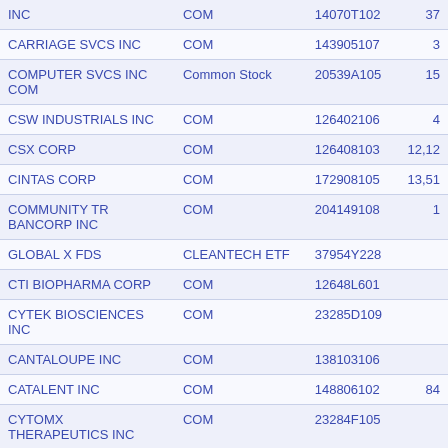| Name | Title | CUSIP | Value |
| --- | --- | --- | --- |
| INC | COM | 14070T102 | 37 |
| CARRIAGE SVCS INC | COM | 143905107 | 3 |
| COMPUTER SVCS INC COM | Common Stock | 20539A105 | 15 |
| CSW INDUSTRIALS INC | COM | 126402106 | 4 |
| CSX CORP | COM | 126408103 | 12,12 |
| CINTAS CORP | COM | 172908105 | 13,51 |
| COMMUNITY TR BANCORP INC | COM | 204149108 | 1 |
| GLOBAL X FDS | CLEANTECH ETF | 37954Y228 |  |
| CTI BIOPHARMA CORP | COM | 12648L601 |  |
| CYTEK BIOSCIENCES INC | COM | 23285D109 |  |
| CANTALOUPE INC | COM | 138103106 |  |
| CATALENT INC | COM | 148806102 | 84 |
| CYTOMX THERAPEUTICS INC | COM | 23284F105 |  |
| COTERRA ENERGY INC | COM | 127097103 |  |